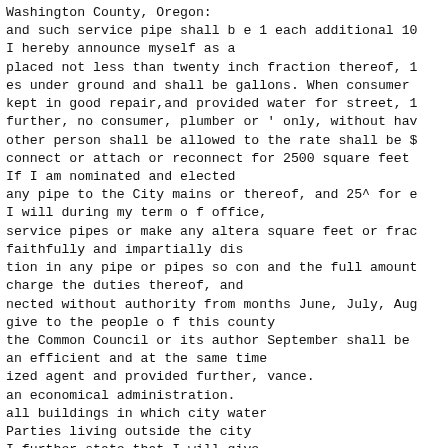Washington County, Oregon:
and such service pipe shall b e 1 each additional 10
I hereby announce myself as a
placed not less than twenty inch fraction thereof, 1
es under ground and shall be gallons. When consumer
kept in good repair,and provided water for street, 1
further, no consumer, plumber or ' only, without hav
other person shall be allowed to the rate shall be $
connect or attach or reconnect for 2500 square feet
If I am nominated and elected
any pipe to the City mains or thereof, and 25^ for e
I will during my term o f office,
service pipes or make any altera square feet or frac
faithfully and impartially dis
tion in any pipe or pipes so con and the full amount
charge the duties thereof, and
nected without authority from months June, July, Aug
give to the people o f this county
the Common Council or its author September shall be
an efficient and at the same time
ized agent and provided further, vance.
an economical administration.
all buildings in which city water
Parties living outside the city
I further state that I will give